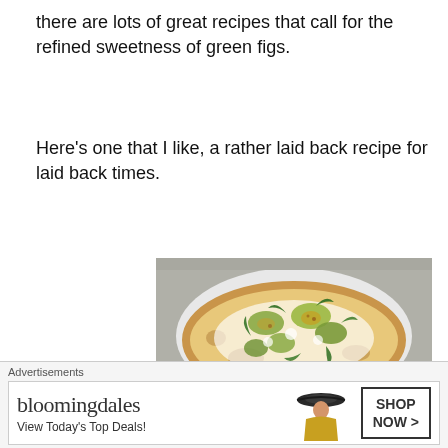there are lots of great recipes that call for the refined sweetness of green figs.
Here's one that I like, a rather laid back recipe for laid back times.
[Figure (photo): A flatbread pizza topped with green figs, arugula, and goat cheese on a white plate]
Fig, Arugula and Goat Cheese Flat Bread
Advertisements
[Figure (other): Bloomingdale's advertisement banner: 'bloomingdales - View Today's Top Deals!' with a woman in a hat and 'SHOP NOW >' button]